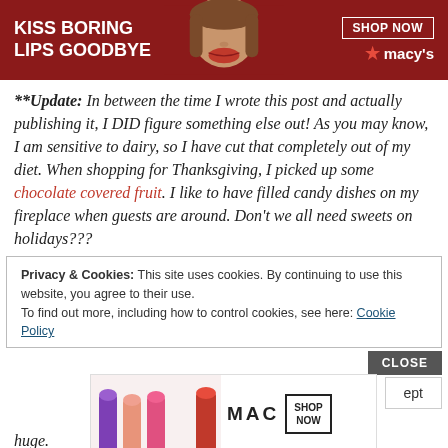[Figure (advertisement): Macy's lipstick ad banner with 'KISS BORING LIPS GOODBYE' text, woman's face with red lips, SHOP NOW button, and Macy's star logo]
**Update: In between the time I wrote this post and actually publishing it, I DID figure something else out! As you may know, I am sensitive to dairy, so I have cut that completely out of my diet. When shopping for Thanksgiving, I picked up some chocolate covered fruit. I like to have filled candy dishes on my fireplace when guests are around. Don't we all need sweets on holidays???
Privacy & Cookies: This site uses cookies. By continuing to use this website, you agree to their use.
To find out more, including how to control cookies, see here: Cookie Policy
[Figure (advertisement): MAC cosmetics ad banner with lipsticks and SHOP NOW button]
huge.